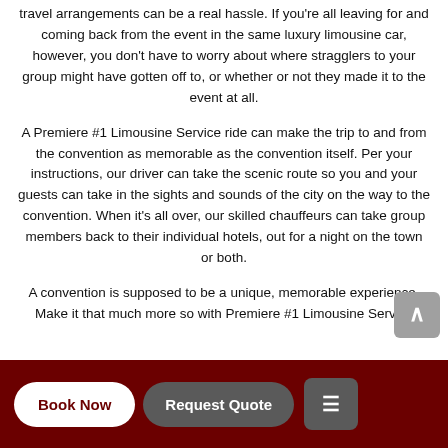travel arrangements can be a real hassle. If you're all leaving for and coming back from the event in the same luxury limousine car, however, you don't have to worry about where stragglers to your group might have gotten off to, or whether or not they made it to the event at all.
A Premiere #1 Limousine Service ride can make the trip to and from the convention as memorable as the convention itself. Per your instructions, our driver can take the scenic route so you and your guests can take in the sights and sounds of the city on the way to the convention. When it's all over, our skilled chauffeurs can take group members back to their individual hotels, out for a night on the town or both.
A convention is supposed to be a unique, memorable experience. Make it that much more so with Premiere #1 Limousine Service
Book Now   Request Quote   ☰